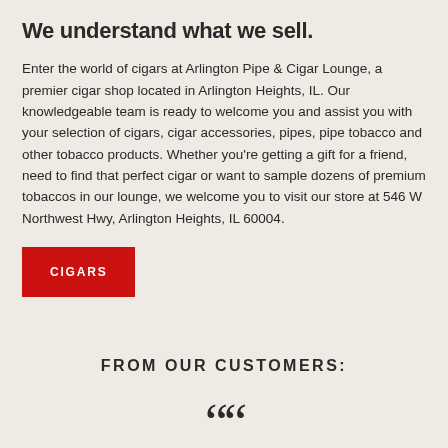We understand what we sell.
Enter the world of cigars at Arlington Pipe & Cigar Lounge, a premier cigar shop located in Arlington Heights, IL. Our knowledgeable team is ready to welcome you and assist you with your selection of cigars, cigar accessories, pipes, pipe tobacco and other tobacco products. Whether you're getting a gift for a friend, need to find that perfect cigar or want to sample dozens of premium tobaccos in our lounge, we welcome you to visit our store at 546 W Northwest Hwy, Arlington Heights, IL 60004.
CIGARS
FROM OUR CUSTOMERS:
““